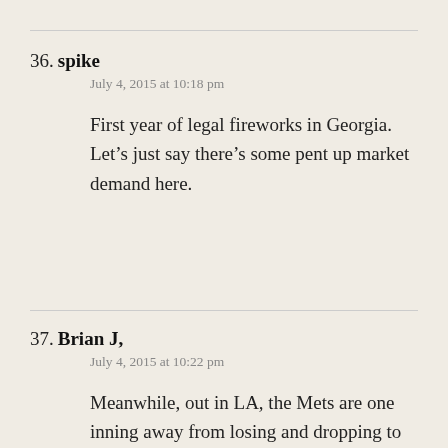36. spike
July 4, 2015 at 10:18 pm
First year of legal fireworks in Georgia. Let’s just say there’s some pent up market demand here.
37. Brian J,
July 4, 2015 at 10:22 pm
Meanwhile, out in LA, the Mets are one inning away from losing and dropping to just half a game ahead of the Braves.